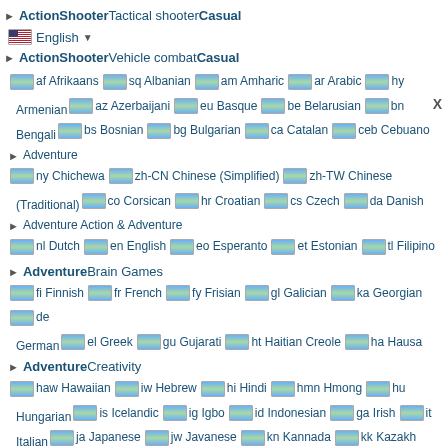ActionShooterTactical shooterCasual
English (dropdown)
ActionShooterVehicle combatCasual
Language flags: af Afrikaans, sq Albanian, am Amharic, ar Arabic, hy Armenian, az Azerbaijani, eu Basque, be Belarusian, bn Bengali, bs Bosnian, bg Bulgarian, ca Catalan, ceb Cebuano, ny Chichewa, zh-CN Chinese (Simplified), zh-TW Chinese (Traditional), co Corsican, hr Croatian, cs Czech, da Danish, nl Dutch, en English, eo Esperanto, et Estonian, tl Filipino, fi Finnish, fr French, fy Frisian, gl Galician, ka Georgian, de German, el Greek, gu Gujarati, ht Haitian Creole, ha Hausa, haw Hawaiian, iw Hebrew, hi Hindi, hmn Hmong, hu Hungarian, is Icelandic, ig Igbo, id Indonesian, ga Irish, it Italian, ja Japanese, jw Javanese, kn Kannada, kk Kazakh, km Khmer, ko Korean, ku Kurdish (Kurmanji), ky Kyrgyz, lo Lao, la Latin, lv Latvian, lt Lithuanian, lb Luxembourgish, mk Macedonian, mg Malagasy, ms Malay, ml Malayalam, mt Maltese, mi Maori, mr Marathi, mn Mongolian, my Myanmar (Burmese), ne Nepali, no Norwegian, ps Pashto, fa Persian, pl Polish, pt Portuguese, pa Punjabi, ro Romanian, ru Russian, sm Samoan, gd Scottish Gaelic, sr Serbian, st Sesotho, sn Shona, sd Sindhi, si Sinhala, sk Slovak, sl Slovenian, so Somali, es Spanish, su Sudanese, sw Swahili, sv Swedish, tg Tajik, ta Tamil, te Telugu, th Thai, tr Turkish
AdventureBrain Games
AdventureCreativity
Adventure Action & Adventure
AdventureInteractive story Casual
Adventure Pretend Play
AdventurePuzzle-adventure
AdventurePuzzle-adventureCasual